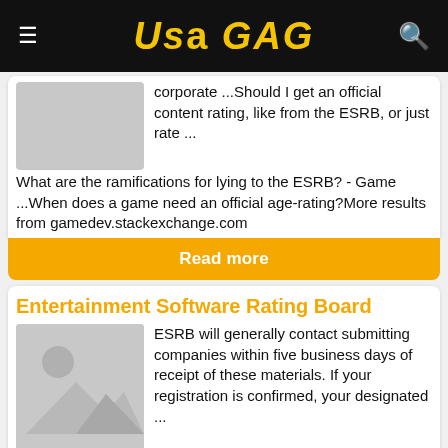USA GAG
corporate ...Should I get an official content rating, like from the ESRB, or just rate ...What are the ramifications for lying to the ESRB? - Game ...When does a game need an official age-rating?More results from gamedev.stackexchange.com
Read more
Entertainment Software Rating Board
[Figure (photo): Placeholder image with mountain and sun icon]
ESRB will generally contact submitting companies within five business days of receipt of these materials. If your registration is confirmed, your designated ...
Read more